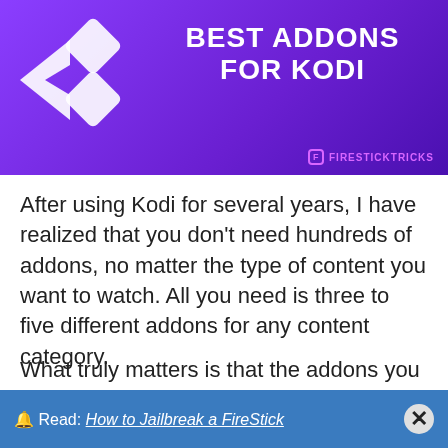[Figure (illustration): Purple gradient banner with Kodi logo on the left and bold white text 'BEST ADDONS FOR KODI' on the right, with 'FIRESTICKTRICKS' branding in the bottom right corner]
After using Kodi for several years, I have realized that you don't need hundreds of addons, no matter the type of content you want to watch. All you need is three to five different addons for any content category.
What truly matters is that the addons you pick work well and deliver high-quality streams. Therefore, I
🔔 Read: How to Jailbreak a FireStick  ✕